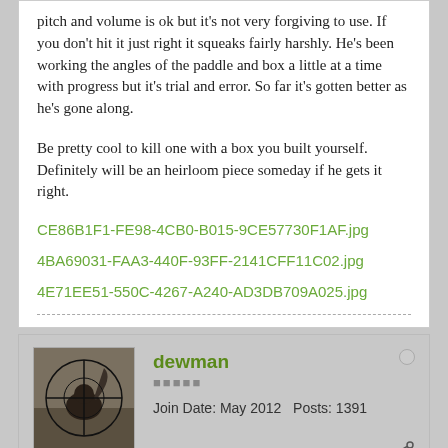pitch and volume is ok but it's not very forgiving to use. If you don't hit it just right it squeaks fairly harshly. He's been working the angles of the paddle and box a little at a time with progress but it's trial and error. So far it's gotten better as he's gone along.
Be pretty cool to kill one with a box you built yourself. Definitely will be an heirloom piece someday if he gets it right.
CE86B1F1-FE98-4CB0-B015-9CE57730F1AF.jpg
4BA69031-FAA3-440F-93FF-2141CFF11C02.jpg
4E71EE51-550C-4267-A240-AD3DB709A025.jpg
dewman
Join Date: May 2012   Posts: 1391
05-09-2022, 07:25 AM
#6
Some woods work better than others for calls. Plenty of chalk